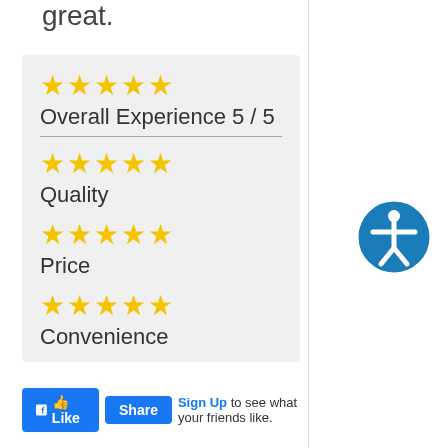great.
[Figure (infographic): Rating box with star ratings for Overall Experience 5/5, Quality, Price, and Convenience, each showing 5 gold stars on a light gray background]
Like  Share  Sign Up to see what your friends like.
thank you
Near N Gibson Point, Hern, FL 34442
182 days a
[Figure (photo): Small thumbnail photo with landscape/outdoor scene]
S